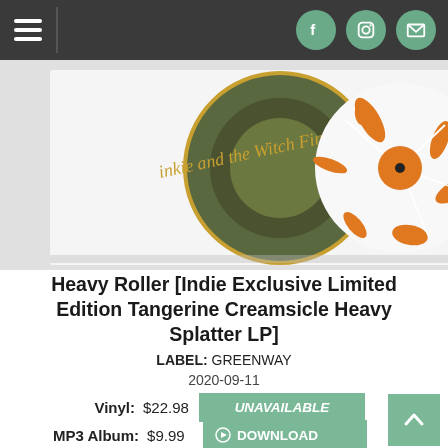Navigation bar with hamburger menu and social icons (Facebook, Instagram, Email)
[Figure (photo): Album cover and vinyl record showing orange and white splatter LP for 'Pinkie and the Witch Fingers' Heavy Roller]
Heavy Roller [Indie Exclusive Limited Edition Tangerine Creamsicle Heavy Splatter LP]
LABEL: GREENWAY
2020-09-11
Vinyl: $22.98  UNAVAILABLE
MP3 Album: $9.99  DOWNLOAD